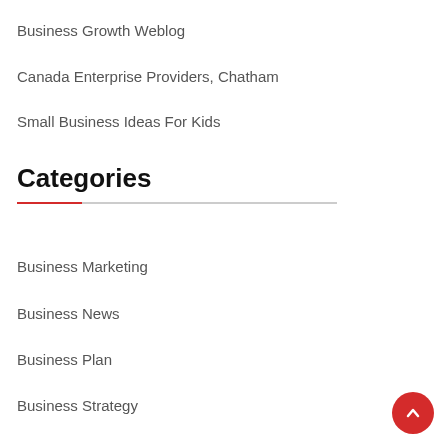Business Growth Weblog
Canada Enterprise Providers, Chatham
Small Business Ideas For Kids
Categories
Business Marketing
Business News
Business Plan
Business Strategy
Finance